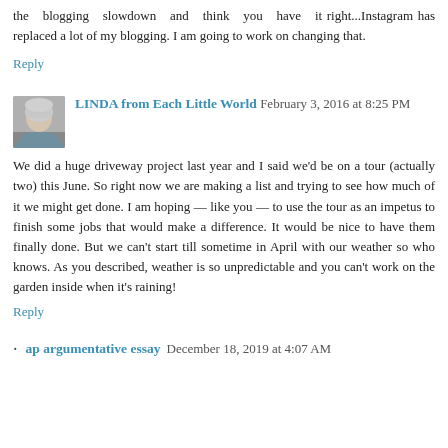the blogging slowdown and think you have it right...Instagram has replaced a lot of my blogging. I am going to work on changing that.
Reply
LINDA from Each Little World February 3, 2016 at 8:25 PM
We did a huge driveway project last year and I said we'd be on a tour (actually two) this June. So right now we are making a list and trying to see how much of it we might get done. I am hoping — like you — to use the tour as an impetus to finish some jobs that would make a difference. It would be nice to have them finally done. But we can't start till sometime in April with our weather so who knows. As you described, weather is so unpredictable and you can't work on the garden inside when it's raining!
Reply
ap argumentative essay December 18, 2019 at 4:07 AM